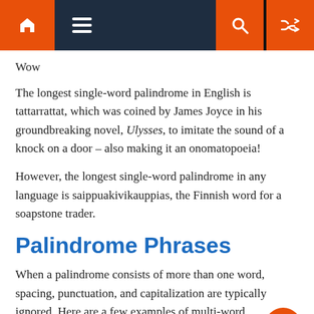Navigation bar with home, menu, search, and shuffle icons
Wow
The longest single-word palindrome in English is tattarrattat, which was coined by James Joyce in his groundbreaking novel, Ulysses, to imitate the sound of a knock on a door – also making it an onomatopoeia!
However, the longest single-word palindrome in any language is saippuakivikauppias, the Finnish word for a soapstone trader.
Palindrome Phrases
When a palindrome consists of more than one word, spacing, punctuation, and capitalization are typically ignored. Here are a few examples of multi-word palindromes: